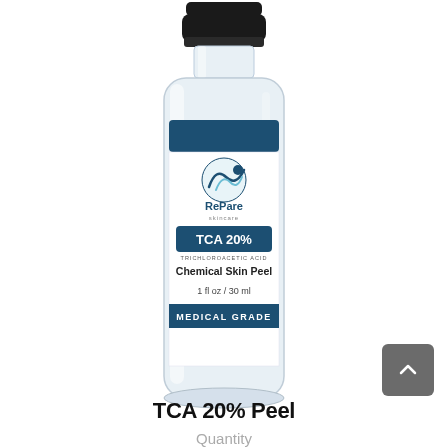[Figure (photo): A small clear glass bottle with black cap containing RePare Skincare TCA 20% Trichloroacetic Acid Chemical Skin Peel, 1 fl oz / 30 ml, Medical Grade label]
TCA 20% Peel
Quantity
− 1 +